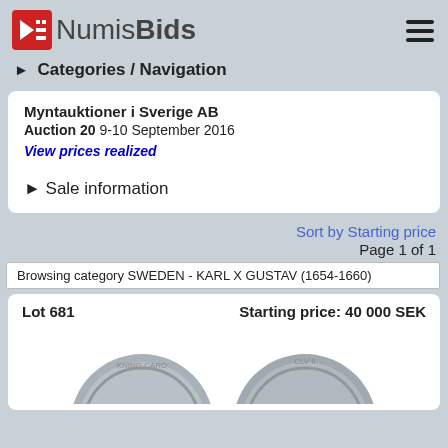NumisBids
► Categories / Navigation
Myntauktioner i Sverige AB
Auction 20  9-10 September 2016
View prices realized
► Sale information
Sort by Starting price
Page 1 of 1
Browsing category SWEDEN - KARL X GUSTAV (1654-1660)
Lot 681    Starting price: 40 000 SEK
[Figure (photo): Two silver coins from Sweden, Karl X Gustav era (1654-1660), partially visible at bottom of page]